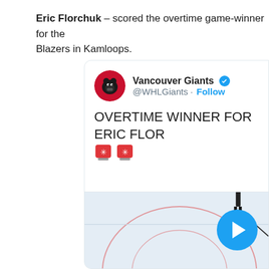Eric Florchuk – scored the overtime game-winner for the Blazers in Kamloops.
[Figure (screenshot): Embedded tweet from @WHLGiants (Vancouver Giants) showing 'OVERTIME WINNER FOR ERIC FLOR...' with two red alert emojis, and a hockey rink photo with a video play button overlay.]